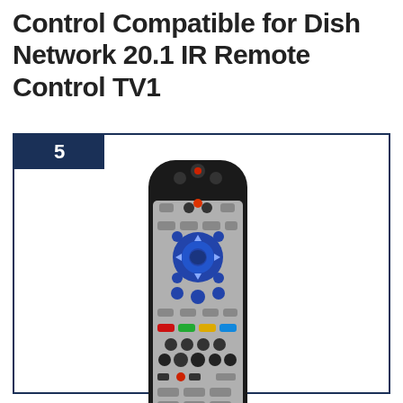Control Compatible for Dish Network 20.1 IR Remote Control TV1
5
[Figure (photo): Photo of a Dish Network 20.1 IR Remote Control TV1. The remote is silver and black with blue buttons, a directional pad with SELECT in the center, colored buttons (red, green, yellow, blue), numeric keypad, and media control buttons.]